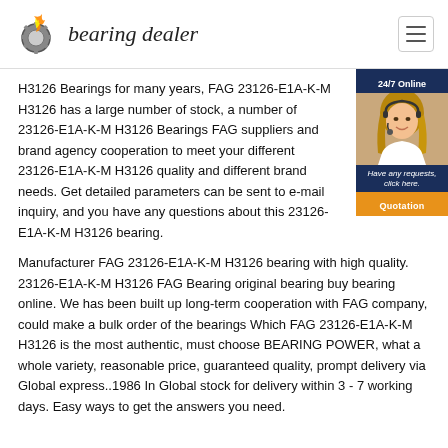bearing dealer
H3126 Bearings for many years, FAG 23126-E1A-K-M H3126 has a large number of stock, a number of 23126-E1A-K-M H3126 Bearings FAG suppliers and brand agency cooperation to meet your different 23126-E1A-K-M H3126 quality and different brand needs. Get detailed parameters can be sent to e-mail inquiry, and you have any questions about this 23126-E1A-K-M H3126 bearing.
[Figure (illustration): 24/7 Online chat widget with a female customer service representative photo and Quotation button]
Manufacturer FAG 23126-E1A-K-M H3126 bearing with high quality. 23126-E1A-K-M H3126 FAG Bearing original bearing buy bearing online. We has been built up long-term cooperation with FAG company, could make a bulk order of the bearings Which FAG 23126-E1A-K-M H3126 is the most authentic, must choose BEARING POWER, what a whole variety, reasonable price, guaranteed quality, prompt delivery via Global express..1986 In Global stock for delivery within 3 - 7 working days. Easy ways to get the answers you need.